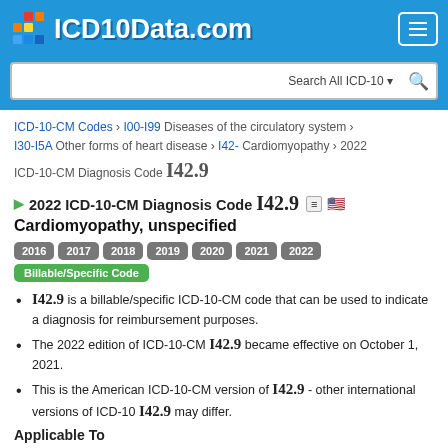[Figure (logo): ICD10Data.com logo with colorful block icon and navigation menu button on blue header]
ICD-10-CM Codes › I00-I99 Diseases of the circulatory system › I30-I5A Other forms of heart disease › I42- Cardiomyopathy › 2022 ICD-10-CM Diagnosis Code I42.9
2022 ICD-10-CM Diagnosis Code I42.9
Cardiomyopathy, unspecified
2016 2017 2018 2019 2020 2021 2022 Billable/Specific Code
I42.9 is a billable/specific ICD-10-CM code that can be used to indicate a diagnosis for reimbursement purposes.
The 2022 edition of ICD-10-CM I42.9 became effective on October 1, 2021.
This is the American ICD-10-CM version of I42.9 - other international versions of ICD-10 I42.9 may differ.
Applicable To